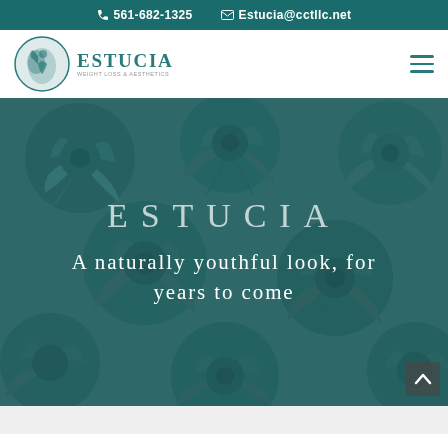561-682-1325   Estucia@cctllc.net
[Figure (logo): Estucia Weight Loss & Aesthetics logo with teal circular emblem and brand name]
[Figure (photo): Hero image: succulent plants with teal/green overlay and centered text overlay reading ESTUCIA and 'A naturally youthful look, for years to come']
ESTUCIA
A naturally youthful look, for years to come